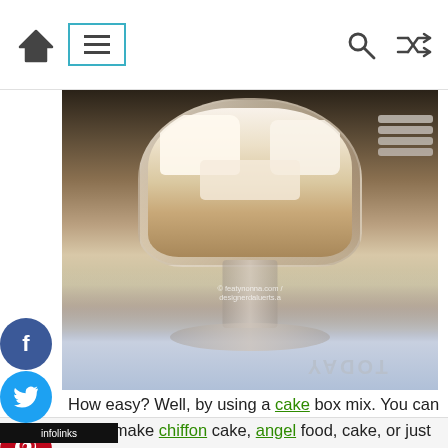Navigation bar with home, menu, search, and shuffle icons
[Figure (photo): A glass pedestal dish containing pieces of white cake, photographed from above at an angle, placed on a floral tablecloth. A watermark reads '© featynonna.com / designerdaluerts.a'. The word TODAY is visible on the tablecloth, rotated.]
How easy? Well, by using a cake box mix. You can either make chiffon cake, angel food, cake, or just plain 'ol white cake which is what I've used in this
[Figure (infographic): DraftKings Sportsbook advertisement banner. Text reads: AND BET ON COLLEGE FOOTBALL. BET NOW. Gambling Problem? Call (877-8-HOPENY) or text HOPENY (467369).]